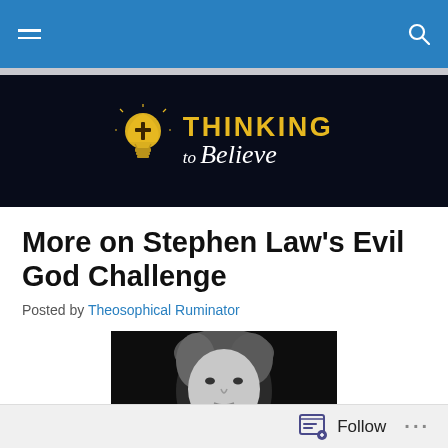Navigation bar with hamburger menu and search icon
[Figure (logo): Thinking to Believe logo: lightbulb with cross, yellow bold THINKING text, white italic 'to Believe' text on dark background]
More on Stephen Law's Evil God Challenge
Posted by Theosophical Ruminator
[Figure (photo): Black and white portrait photo of a person with medium-length blonde/light hair, facing slightly to the side]
Follow ...